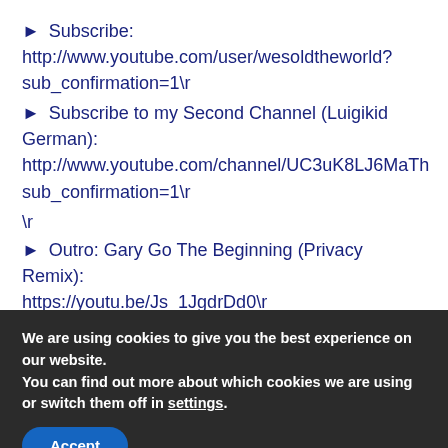▶ Subscribe: http://www.youtube.com/user/wesoldtheworld?sub_confirmation=1\r
▶ Subscribe to my Second Channel (Luigikid German): http://www.youtube.com/channel/UC3uK8LJ6MaThsub_confirmation=1\r
\r
▶ Outro: Gary Go The Beginning (Privacy Remix): https://youtu.be/Js_1JgdrDd0\r
\r
We are using cookies to give you the best experience on our website.
You can find out more about which cookies we are using or switch them off in settings.
Accept